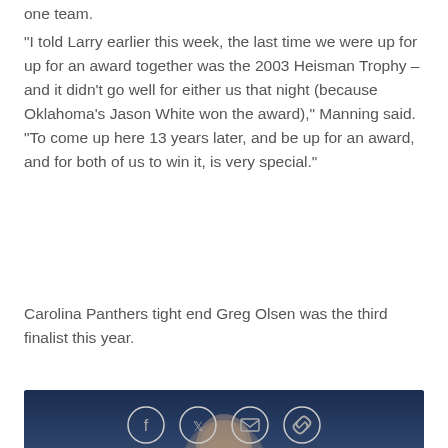one team.
"I told Larry earlier this week, the last time we were up for up for an award together was the 2003 Heisman Trophy – and it didn't go well for either us that night (because Oklahoma's Jason White won the award)," Manning said. "To come up here 13 years later, and be up for an award, and for both of us to win it, is very special."
Carolina Panthers tight end Greg Olsen was the third finalist this year.
[Figure (photo): Video thumbnail showing Eli Manning against a dark blue background, with caption overlay reading 'Eli Manning's Man of the Year acceptance speech']
Eli Manning's Man of the Year acceptance speech